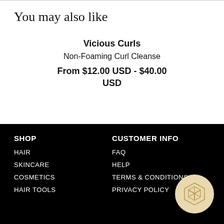You may also like
Vicious Curls
Non-Foaming Curl Cleanse
From $12.00 USD - $40.00 USD
SHOP
CUSTOMER INFO
HAIR
FAQ
SKINCARE
HELP
COSMETICS
TERMS & CONDITIONS
HAIR TOOLS
PRIVACY POLICY
[Figure (logo): Geometric cube logo in a circle with gold/cream colors]